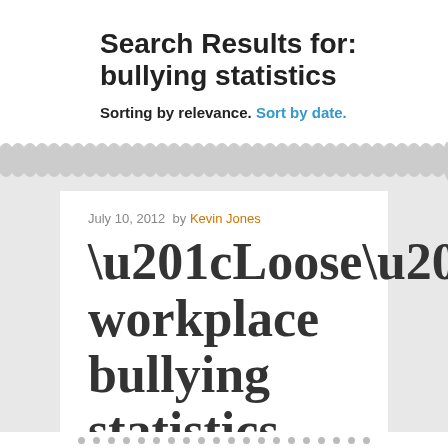Search Results for: bullying statistics
Sorting by relevance. Sort by date.
July 10, 2012  by Kevin Jones
“Loose” workplace bullying statistics published